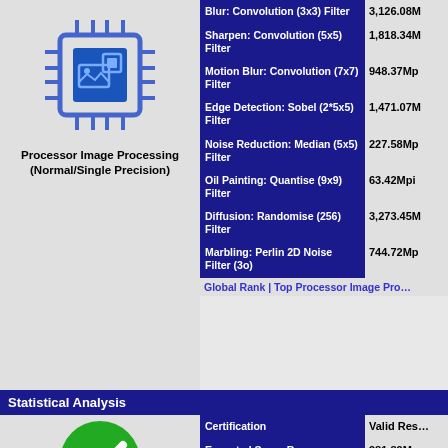[Figure (logo): Processor chip/image processing icon in blue]
Processor Image Processing (Normal/Single Precision)
| Operation | Value |
| --- | --- |
| Blur: Convolution (3x3) Filter | 3,126.08M… |
| Sharpen: Convolution (5x5) Filter | 1,818.34M… |
| Motion Blur: Convolution (7x7) Filter | 948.37Mp… |
| Edge Detection: Sobel (2*5x5) Filter | 1,471.07M… |
| Noise Reduction: Median (5x5) Filter | 227.58Mp… |
| Oil Painting: Quantise (9x9) Filter | 63.42Mpi… |
| Diffusion: Randomise (256) Filter | 3,273.45M… |
| Marbling: Perlin 2D Noise Filter (3o) | 744.72Mp… |
Global Rank | Top Processor Image Pro…
Statistical Analysis
[Figure (illustration): Green circle with white checkmark indicating valid result]
Valid Result: Medium Deviation (within Secondary 95.5% Confidence Interval)
| Metric | Value |
| --- | --- |
| Certification | Valid Res… |
| Expected Score Range (Confidence Interval) | 981.89Mp… |
| Aggregated Results | 22 |
| Observed Score Range (Sample Interval) | 1,256.24M… |
| Standard Deviation | ±137.18M… |
| Variation Coefficient (CV) | 10.92% |